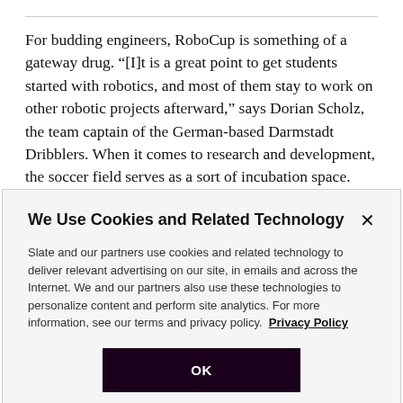For budding engineers, RoboCup is something of a gateway drug. “[I]t is a great point to get students started with robotics, and most of them stay to work on other robotic projects afterward,” says Dorian Scholz, the team captain of the German-based Darmstadt Dribblers. When it comes to research and development, the soccer field serves as a sort of incubation space.
We Use Cookies and Related Technology
Slate and our partners use cookies and related technology to deliver relevant advertising on our site, in emails and across the Internet. We and our partners also use these technologies to personalize content and perform site analytics. For more information, see our terms and privacy policy. Privacy Policy
OK